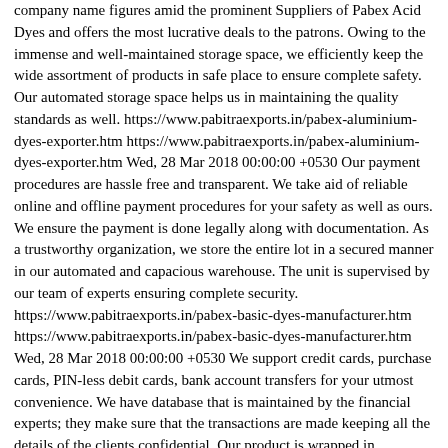company name figures amid the prominent Suppliers of Pabex Acid Dyes and offers the most lucrative deals to the patrons. Owing to the immense and well-maintained storage space, we efficiently keep the wide assortment of products in safe place to ensure complete safety. Our automated storage space helps us in maintaining the quality standards as well. https://www.pabitraexports.in/pabex-aluminium-dyes-exporter.htm https://www.pabitraexports.in/pabex-aluminium-dyes-exporter.htm Wed, 28 Mar 2018 00:00:00 +0530 Our payment procedures are hassle free and transparent. We take aid of reliable online and offline payment procedures for your safety as well as ours. We ensure the payment is done legally along with documentation. As a trustworthy organization, we store the entire lot in a secured manner in our automated and capacious warehouse. The unit is supervised by our team of experts ensuring complete security. https://www.pabitraexports.in/pabex-basic-dyes-manufacturer.htm https://www.pabitraexports.in/pabex-basic-dyes-manufacturer.htm Wed, 28 Mar 2018 00:00:00 +0530 We support credit cards, purchase cards, PIN-less debit cards, bank account transfers for your utmost convenience. We have database that is maintained by the financial experts; they make sure that the transactions are made keeping all the details of the clients confidential. Our product is wrapped in industrial grade packaging supplies that are ecological and offer defense to the products against mechanical and transit damage. Furthermore, the product is correctly branded to offer